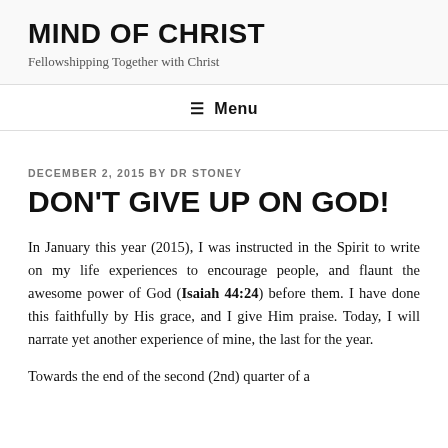MIND OF CHRIST
Fellowshipping Together with Christ
≡  Menu
DECEMBER 2, 2015 BY DR STONEY
DON'T GIVE UP ON GOD!
In January this year (2015), I was instructed in the Spirit to write on my life experiences to encourage people, and flaunt the awesome power of God (Isaiah 44:24) before them. I have done this faithfully by His grace, and I give Him praise. Today, I will narrate yet another experience of mine, the last for the year.
Towards the end of the second (2nd) quarter of a